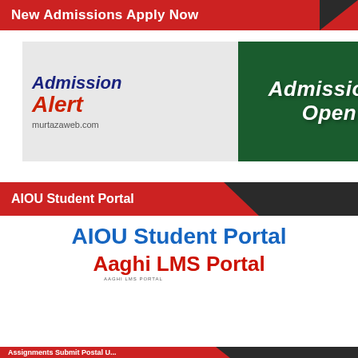New Admissions Apply Now
[Figure (infographic): Admission Alert banner with 'Admissions Open' on green background and murtazaweb.com branding]
AIOU Student Portal
AIOU Student Portal
Aaghi LMS Portal
[Figure (screenshot): Aaghi LMS Portal interface screenshot showing grid of portal options with Click Here and LOGIN buttons]